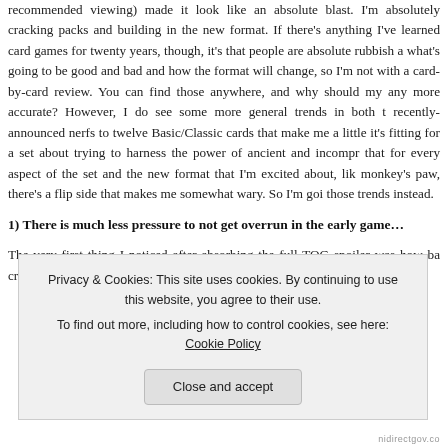recommended viewing) made it look like an absolute blast. I'm absolutely cracking packs and building in the new format. If there's anything I've learned card games for twenty years, though, it's that people are absolute rubbish a what's going to be good and bad and how the format will change, so I'm not with a card-by-card review. You can find those anywhere, and why should my any more accurate? However, I do see some more general trends in both t recently-announced nerfs to twelve Basic/Classic cards that make me a little it's fitting for a set about trying to harness the power of ancient and incompr that for every aspect of the set and the new format that I'm excited about, lik monkey's paw, there's a flip side that makes me somewhat wary. So I'm goi those trends instead.
1) There is much less pressure to not get overrun in the early game…
The very first thing I noticed after absorbing the full TOG spoiler was how ba creatures are. Only one of them is truly excellent, I feel (Rogue's Undercity
Privacy & Cookies: This site uses cookies. By continuing to use this website, you agree to their use.
To find out more, including how to control cookies, see here: Cookie Policy
nidirectgov.co